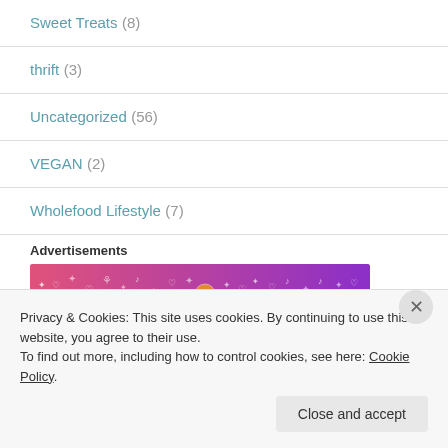Sweet Treats (8)
thrift (3)
Uncategorized (56)
VEGAN (2)
Wholefood Lifestyle (7)
Advertisements
[Figure (illustration): Colorful gradient banner advertisement with pink to purple gradient and decorative white icons]
Privacy & Cookies: This site uses cookies. By continuing to use this website, you agree to their use. To find out more, including how to control cookies, see here: Cookie Policy
Close and accept